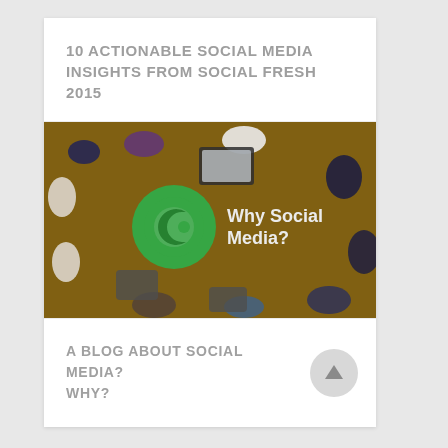10 ACTIONABLE SOCIAL MEDIA INSIGHTS FROM SOCIAL FRESH 2015
[Figure (photo): Overhead view of people sitting around a wooden table with laptops and tablets, overlaid with a green circular logo and text 'Why Social Media?']
A BLOG ABOUT SOCIAL MEDIA? WHY?